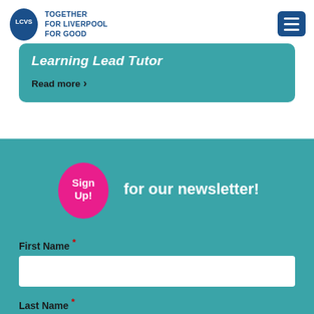[Figure (logo): LCVS logo — blue egg shape with LCVS text, beside 'TOGETHER FOR LIVERPOOL FOR GOOD' tagline in navy blue]
Learning Lead Tutor
Read more >
[Figure (infographic): Pink blob shape with 'Sign Up!' text, followed by 'for our newsletter!' in white on teal background]
First Name *
Last Name *